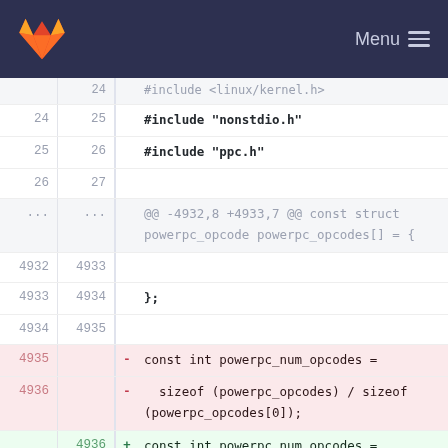Menu
Code diff view showing changes to powerpc opcodes file. Lines 24-4939+ shown.
| old_ln | new_ln | sign | code |
| --- | --- | --- | --- |
| 24 | 25 |  | #include "nonstdio.h" |
| 25 | 26 |  | #include "ppc.h" |
| 26 | 27 |  |  |
| ... | ... |  | @@ -4932,8 +4933,7 @@ const struct powerpc_opcode powerpc_opcodes[] = { |
| 4932 | 4933 |  |  |
| 4933 | 4934 |  | }; |
| 4934 | 4935 |  |  |
| 4935 |  | - | const int powerpc_num_opcodes = |
| 4936 |  | - |   sizeof (powerpc_opcodes) / sizeof (powerpc_opcodes[0]); |
|  | 4936 | + | const int powerpc_num_opcodes = ARRAY_SIZE(powerpc_opcodes); |
| 4937 | 4937 |  |  |
| 4938 | 4938 |  | /* The macro table.  This is only used by the assembler.  */ |
| 4939 | 4939 |  |  |
| ... | ... |  | @@ -4989,5 +4989,4 @@ const struct powerpc_macro powerpc_macros[] = { |